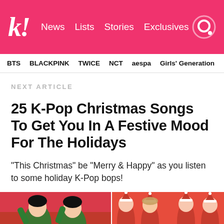k! News Lists Stories Exclusives
BTS  BLACKPINK  TWICE  NCT  aespa  Girls' Generation
NEXT ARTICLE
25 K-Pop Christmas Songs To Get You In A Festive Mood For The Holidays
“This Christmas” be “Merry & Happy” as you listen to some holiday K-Pop bops!
[Figure (photo): Two K-Pop artists in green Christmas outfits on red background (left panel) and four K-Pop female artists in Santa/holiday outfits on red background (right panel)]